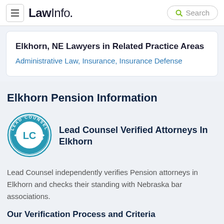LawInfo. Search
Elkhorn, NE Lawyers in Related Practice Areas
Administrative Law, Insurance, Insurance Defense
Elkhorn Pension Information
[Figure (logo): Lead Counsel Verified badge — circular teal badge with LC initials and text LEAD COUNSEL VERIFIED around the edge]
Lead Counsel Verified Attorneys In Elkhorn
Lead Counsel independently verifies Pension attorneys in Elkhorn and checks their standing with Nebraska bar associations.
Our Verification Process and Criteria